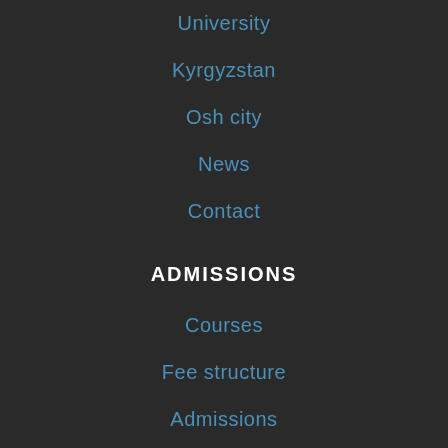University
Kyrgyzstan
Osh city
News
Contact
ADMISSIONS
Courses
Fee structure
Admissions
Official Representatives
Student life